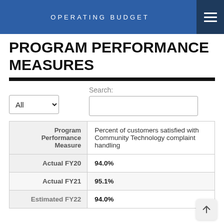OPERATING BUDGET
PROGRAM PERFORMANCE MEASURES
| Program Performance Measure |  |
| --- | --- |
| Program Performance Measure | Percent of customers satisfied with Community Technology complaint handling |
| Actual FY20 | 94.0% |
| Actual FY21 | 95.1% |
| Estimated FY22 | 94.0% |